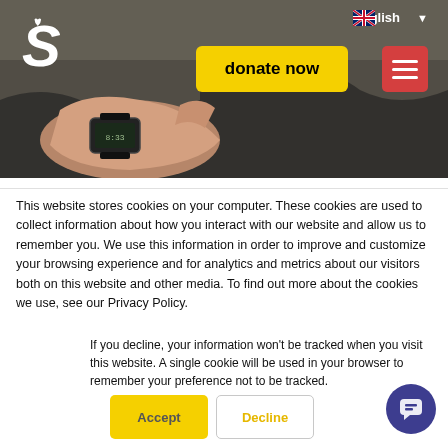[Figure (photo): Hero banner showing a close-up of a hand wearing a digital watch, dark clothing background, with website navigation overlay including logo, language selector, donate now button, and hamburger menu.]
This website stores cookies on your computer. These cookies are used to collect information about how you interact with our website and allow us to remember you. We use this information in order to improve and customize your browsing experience and for analytics and metrics about our visitors both on this website and other media. To find out more about the cookies we use, see our Privacy Policy.
If you decline, your information won't be tracked when you visit this website. A single cookie will be used in your browser to remember your preference not to be tracked.
Accept
Decline